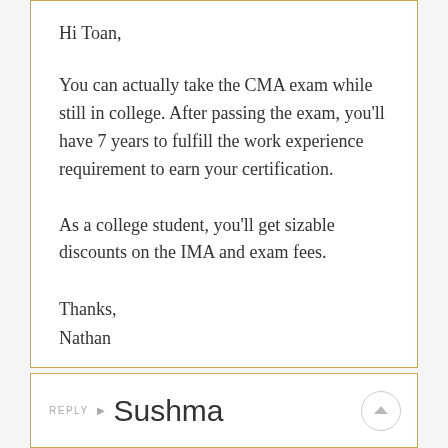Hi Toan,
You can actually take the CMA exam while still in college. After passing the exam, you'll have 7 years to fulfill the work experience requirement to earn your certification.
As a college student, you'll get sizable discounts on the IMA and exam fees.
Thanks,
Nathan
REPLY Sushma